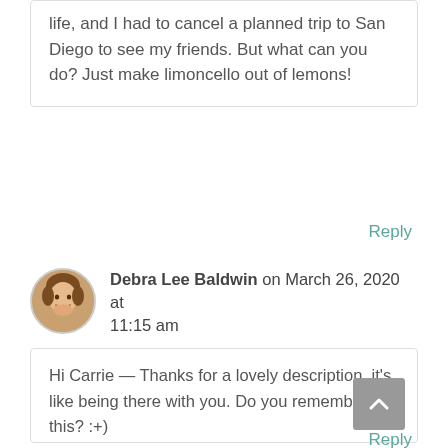life, and I had to cancel a planned trip to San Diego to see my friends. But what can you do? Just make limoncello out of lemons!
Reply
Debra Lee Baldwin on March 26, 2020 at 11:15 am
Hi Carrie — Thanks for a lovely description, it's like being there with you. Do you remember this? :+)
https://debraleebaldwin.com/wp-content/uploads/IMG_0300.jpg
Reply